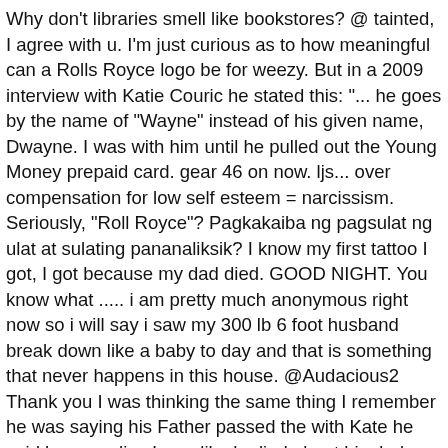Why don't libraries smell like bookstores? @ tainted, I agree with u. I'm just curious as to how meaningful can a Rolls Royce logo be for weezy. But in a 2009 interview with Katie Couric he stated this: "... he goes by the name of "Wayne" instead of his given name, Dwayne. I was with him until he pulled out the Young Money prepaid card. gear 46 on now. ljs... over compensation for low self esteem = narcissism. Seriously, "Roll Royce"? Pagkakaiba ng pagsulat ng ulat at sulating pananaliksik? I know my first tattoo I got, I got because my dad died. GOOD NIGHT. You know what ..... i am pretty much anonymous right now so i will say i saw my 300 lb 6 foot husband break down like a baby to day and that is something that never happens in this house. @Audacious2 Thank you I was thinking the same thing I remember he was saying his Father passed the with Kate he said he was alive I was like he lied about his dad dying I'm so confused, @Audacious and Tammy... he used his father's death as an excuse so that his mom would give him permission at 14 to get a tat. What is the hink-